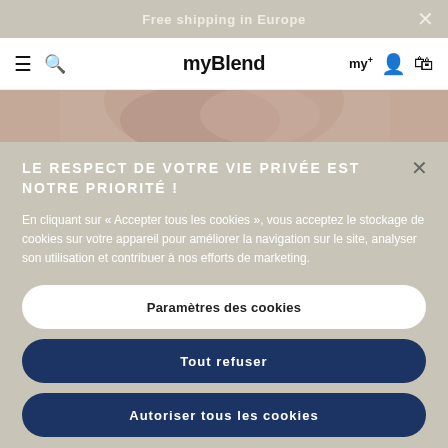Free shipping in Europe
[Figure (screenshot): myBlend website navigation bar with hamburger menu, search icon, myBlend logo, my+ loyalty icon, user icon, and bag icon]
[Figure (photo): Close-up photo of a person's face, showing skin and lips]
LE RESPECT DE VOTRE VIE PRIVÉE EST NOTRE PRIORITÉ !
En cliquant sur « Accepter tous les cookies », vous acceptez le stockage de cookies sur votre appareil pour améliorer la navigation sur le site, analyser son utilisation et contribuer à nos efforts de marketing.
Paramètres des cookies
Tout refuser
Autoriser tous les cookies